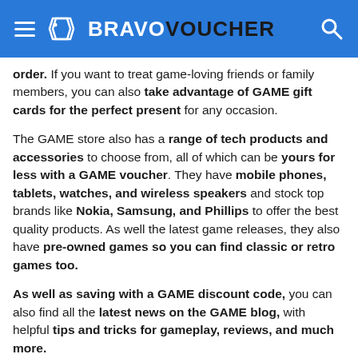BRAVOVOUCHER
order. If you want to treat game-loving friends or family members, you can also take advantage of GAME gift cards for the perfect present for any occasion.
The GAME store also has a range of tech products and accessories to choose from, all of which can be yours for less with a GAME voucher. They have mobile phones, tablets, watches, and wireless speakers and stock top brands like Nokia, Samsung, and Phillips to offer the best quality products. As well the latest game releases, they also have pre-owned games so you can find classic or retro games too.
As well as saving with a GAME discount code, you can also find all the latest news on the GAME blog, with helpful tips and tricks for gameplay, reviews, and much more.
What does GAME offer?